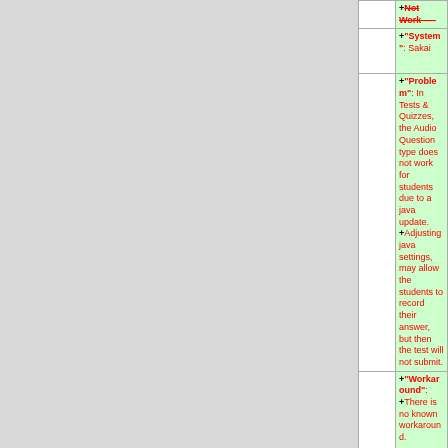|  | Content |
| --- | --- |
|  | +"System": Sakai |
|  | +"Problem": In Tests & Quizzes, the Audio Question type does not work for students due to a java update.
+Adjusting java settings, may allow the students to record their answer, but then the test will not submit. |
|  | +"Workaround":
+There is no known workaround. |
|  | +"Status": Under investigation |
|  | --
[[User:Jolaine|Jolaine]] 15:53, 17 |